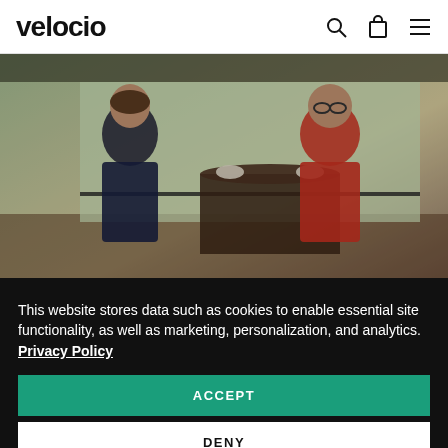velocio
[Figure (photo): Two people sitting at a table near large windows, having coffee. One person wearing a dark patterned cycling jersey, the other wearing a red cycling shirt. Background shows trees and an outdoor railing.]
This website stores data such as cookies to enable essential site functionality, as well as marketing, personalization, and analytics. Privacy Policy
ACCEPT
DENY